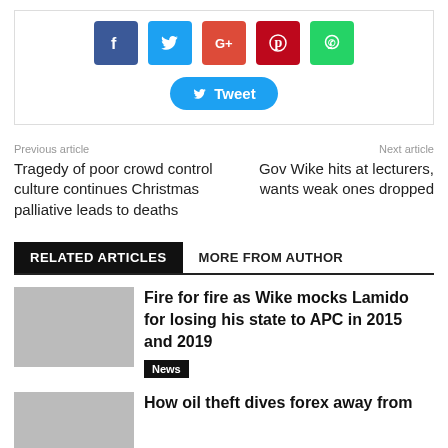[Figure (other): Social media share buttons: Facebook (blue), Twitter (cyan), Google+ (red-orange), Pinterest (dark red), WhatsApp (green), and a Tweet button below]
Previous article
Next article
Tragedy of poor crowd control culture continues Christmas palliative leads to deaths
Gov Wike hits at lecturers, wants weak ones dropped
RELATED ARTICLES	MORE FROM AUTHOR
Fire for fire as Wike mocks Lamido for losing his state to APC in 2015 and 2019
News
How oil theft dives forex away from